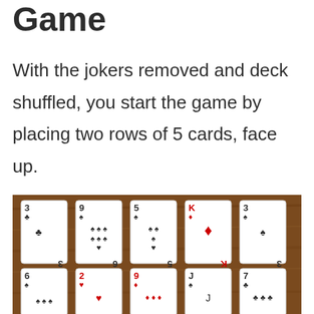Game
With the jokers removed and deck shuffled, you start the game by placing two rows of 5 cards, face up.
[Figure (photo): Two rows of playing cards face up on a wooden table. Top row: 3 of clubs, 9 of spades, 5 of spades, King of diamonds, 3 of spades. Bottom row (partially visible): 6 of spades, 2 of hearts, 9 of diamonds, Jack of spades, 7 of clubs.]